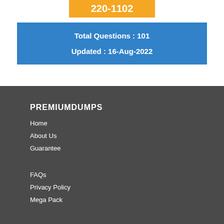220-1102
Total Questions : 101
Updated : 16-Aug-2022
PREMIUMDUMPS
Home
About Us
Guarantee
FAQs
Privacy Policy
Mega Pack